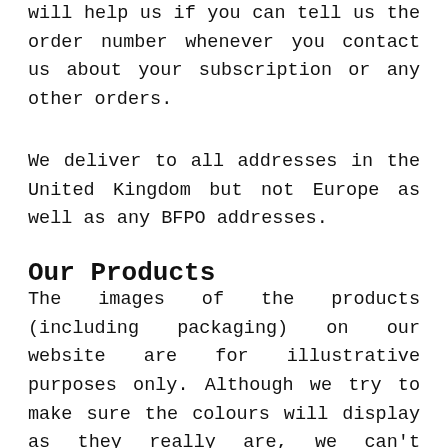will help us if you can tell us the order number whenever you contact us about your subscription or any other orders.
We deliver to all addresses in the United Kingdom but not Europe as well as any BFPO addresses.
Our Products
The images of the products (including packaging) on our website are for illustrative purposes only. Although we try to make sure the colours will display as they really are, we can't guarantee that the display of colours on your device accurately reflects the colour of our products. Your product may vary very slightly from the images you see